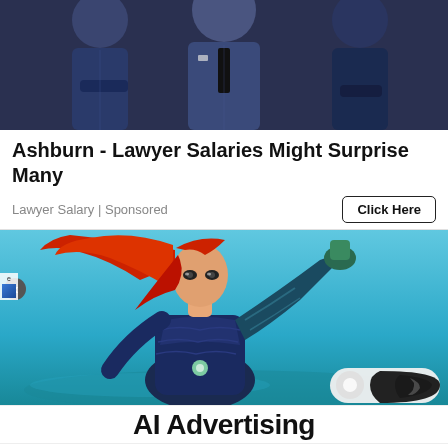[Figure (photo): Photo of people in business suits, partially cropped at top]
Ashburn - Lawyer Salaries Might Surprise Many
Lawyer Salary | Sponsored
[Figure (photo): Illustration of a red-haired female superhero character in blue armor (Mera from Aquaman), with a dark/light mode toggle icon in the bottom-right corner]
AI Advertising